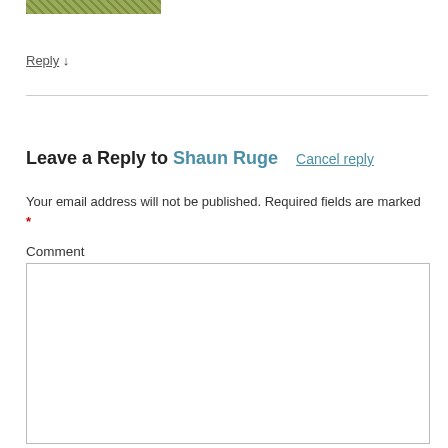[Figure (photo): Partial view of a grass/plant texture image at the top of the page]
Reply ↓
Leave a Reply to Shaun Ruge   Cancel reply
Your email address will not be published. Required fields are marked *
Comment
[Figure (screenshot): Empty comment text area input box]